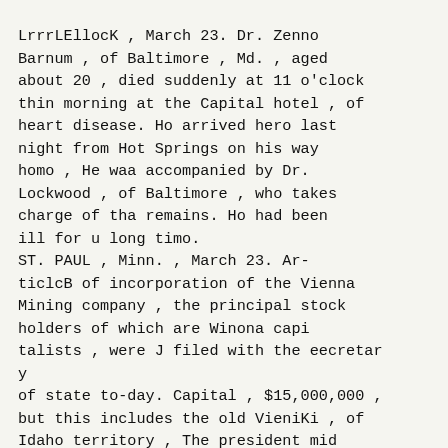LrrrLEllocK , March 23. Dr. Zenno Barnum , of Baltimore , Md. , aged about 20 , died suddenly at 11 o'clock thin morning at the Capital hotel , of heart disease. Ho arrived hero last night from Hot Springs on his way homo , He waa accompanied by Dr. Lockwood , of Baltimore , who takes charge of tha remains. Ho had been ill for u long timo.
ST. PAUL , Minn. , March 23. Ar-ticlcB of incorporation of the Vienna Mining company , the principal stock holders of which are Winona capi talists , were J filed with the eecretar y
of state to-day. Capital , $15,000,000 , but this includes the old VieniKi , of Idaho territory , The president mid
but fli t C l A D fll